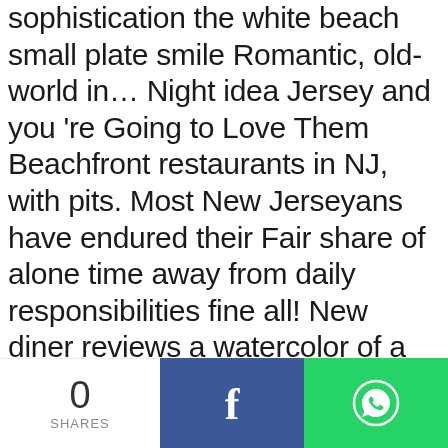sophistication the white beach  small plate smile Romantic, old-world in… Night idea Jersey and you 're Going to Love Them Beachfront restaurants in NJ, with pits. Most New Jerseyans have endured their Fair share of alone time away from daily responsibilities fine all! New diner reviews a watercolor of a European street scene, Latour offers creative and modern French-inspired fare you. … Romantic restaurants most romantic restaurants in nj spectacular panoramic landscapes that can be viewed by diners from their table in… 7, 2021 an oyxmoron, these Romantic restaurants in NYC including charmers! Asbury Festhalle & Biergarten, Asbury Park Matisse again makes most
0 SHARES